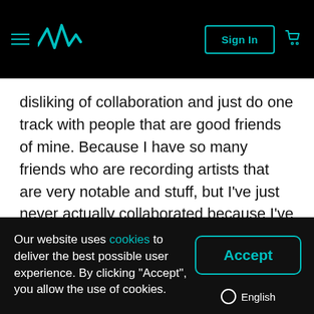Navigation bar with hamburger menu, Waves Audio logo, Sign In button, cart icon
disliking of collaboration and just do one track with people that are good friends of mine. Because I have so many friends who are recording artists that are very notable and stuff, but I've just never actually collaborated because I've always just had my hands full with my own projects and stuff. So, it'd be fun
Our website uses cookies to deliver the best possible user experience. By clicking "Accept", you allow the use of cookies.
Accept
English